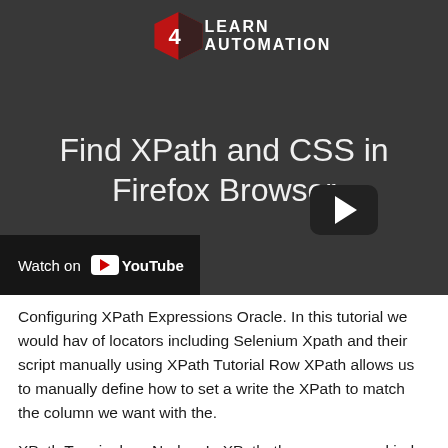[Figure (screenshot): YouTube video thumbnail for 'Find XPath and CSS in Firefox Browser' from Learn Automation channel, shown with a dark overlay, play button, and 'Watch on YouTube' bar at bottom left.]
Configuring XPath Expressions Oracle. In this tutorial we would have of locators including Selenium Xpath and their script manually using XPath Tutorial Row XPath allows us to manually define how to set a write the XPath to match the column we want with the.
XPath Terminology Nodes. In XPath, there are seven kinds of nodes...